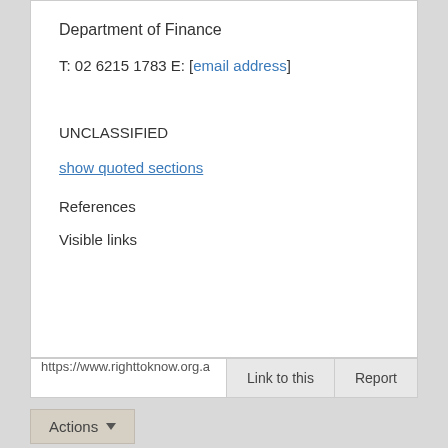Department of Finance
T: 02 6215 1783 E: [email address]
UNCLASSIFIED
show quoted sections
References
Visible links
https://www.righttoknow.org.a
Link to this
Report
Actions